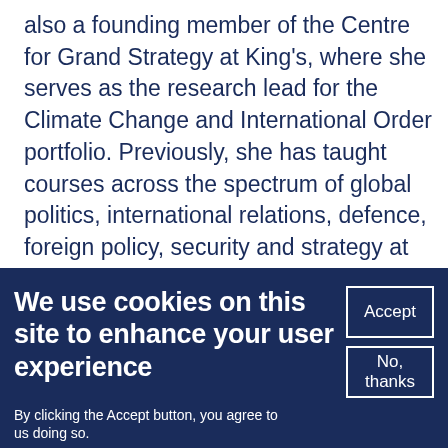also a founding member of the Centre for Grand Strategy at King's, where she serves as the research lead for the Climate Change and International Order portfolio. Previously, she has taught courses across the spectrum of global politics, international relations, defence, foreign policy, security and strategy at the Royal College of Defence Studies, the Defence Academy of the United Kingdom, University College London, Birkbeck University of London, and Queen Mary University of London. Beyond academic, she served as
We use cookies on this site to enhance your user experience
Accept
No, thanks
By clicking the Accept button, you agree to us doing so.